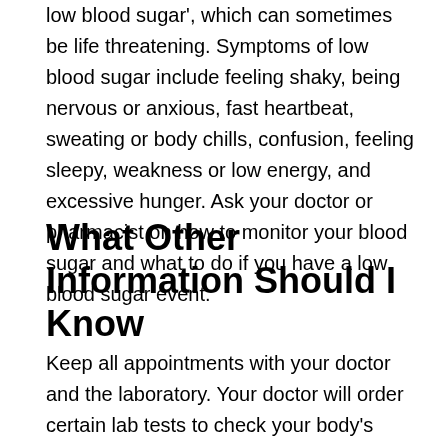low blood sugar', which can sometimes be life threatening. Symptoms of low blood sugar include feeling shaky, being nervous or anxious, fast heartbeat, sweating or body chills, confusion, feeling sleepy, weakness or low energy, and excessive hunger. Ask your doctor or pharmacist on how to monitor your blood sugar and what to do if you have a low blood sugar event.
What Other Information Should I Know
Keep all appointments with your doctor and the laboratory. Your doctor will order certain lab tests to check your body's response to insulin lispro injection products. Your doctor will also tell you how to check your response to insulin lispro injection products by measuring your blood sugar levels at home. Follow these instructions carefully.